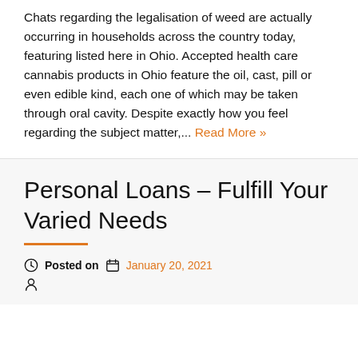Chats regarding the legalisation of weed are actually occurring in households across the country today, featuring listed here in Ohio. Accepted health care cannabis products in Ohio feature the oil, cast, pill or even edible kind, each one of which may be taken through oral cavity. Despite exactly how you feel regarding the subject matter,... Read More »
Personal Loans – Fulfill Your Varied Needs
Posted on January 20, 2021